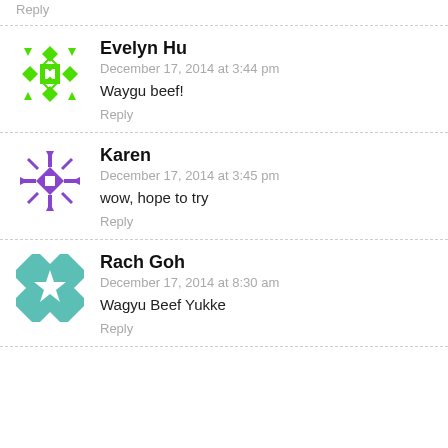Reply
Evelyn Hu
December 17, 2014 at 3:44 pm
Waygu beef!
Reply
Karen
December 17, 2014 at 3:45 pm
wow, hope to try
Reply
Rach Goh
December 17, 2014 at 8:30 am
Wagyu Beef Yukke
Reply